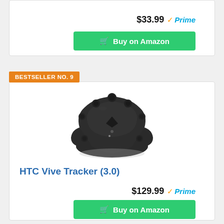$33.99
Prime
Buy on Amazon
BESTSELLER NO. 9
[Figure (photo): HTC Vive Tracker 3.0 device, black puck-shaped VR tracker]
HTC Vive Tracker (3.0)
$129.99
Prime
Buy on Amazon